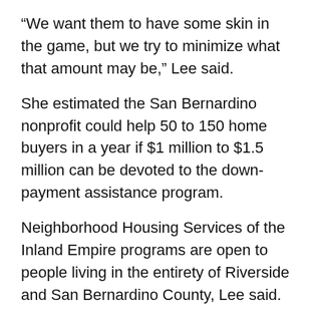“We want them to have some skin in the game, but we try to minimize what that amount may be,” Lee said.
She estimated the San Bernardino nonprofit could help 50 to 150 home buyers in a year if $1 million to $1.5 million can be devoted to the down-payment assistance program.
Neighborhood Housing Services of the Inland Empire programs are open to people living in the entirety of Riverside and San Bernardino County, Lee said.
Neighborhood Partnership Housing Services is active throughout the Inland Empire and eastern Los Angeles County, vice president of resource development and communications Greg O’Donnell said.